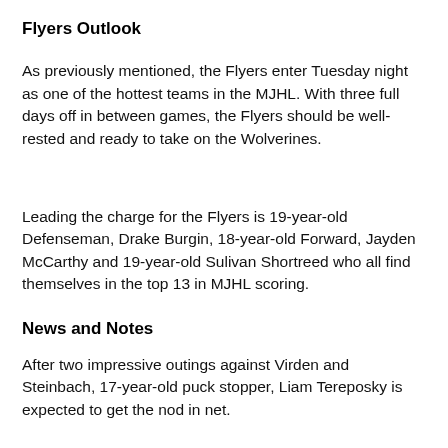Flyers Outlook
As previously mentioned, the Flyers enter Tuesday night as one of the hottest teams in the MJHL. With three full days off in between games, the Flyers should be well-rested and ready to take on the Wolverines.
Leading the charge for the Flyers is 19-year-old Defenseman, Drake Burgin, 18-year-old Forward, Jayden McCarthy and 19-year-old Sulivan Shortreed who all find themselves in the top 13 in MJHL scoring.
News and Notes
After two impressive outings against Virden and Steinbach, 17-year-old puck stopper, Liam Tereposky is expected to get the nod in net.